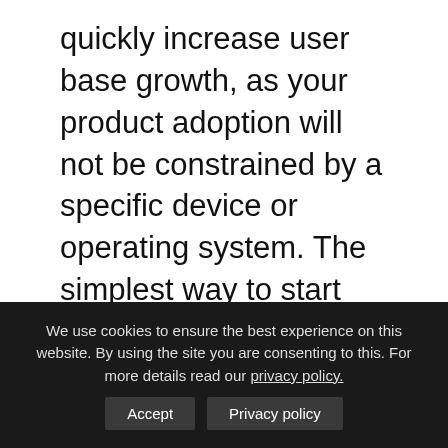quickly increase user base growth, as your product adoption will not be constrained by a specific device or operating system. The simplest way to start playing the game is to just download the mobile app, which makes it extremely easy to try it out and to evangelise the product. One can just invite friends to play along since literally anyone with a computer, tablet, smartphone, or console is able to
We use cookies to ensure the best experience on this website. By using the site you are consenting to this. For more details read our privacy policy.